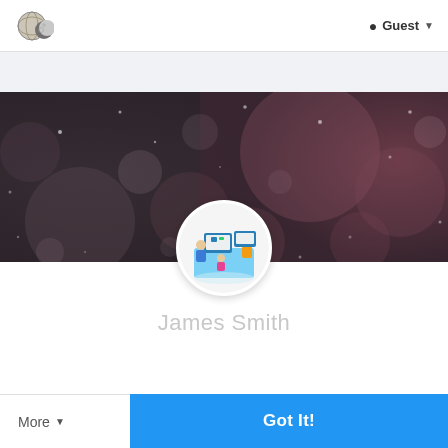[Figure (logo): Circular logo with moon/globe icon in dark and metallic tones]
Guest ▾
[Figure (photo): Dark bokeh background banner with blurred lights in dark gray and mauve/rose tones]
[Figure (illustration): Circular profile avatar with illustration of people working at computers in an isometric style]
James Smith
More ▾
Got It!